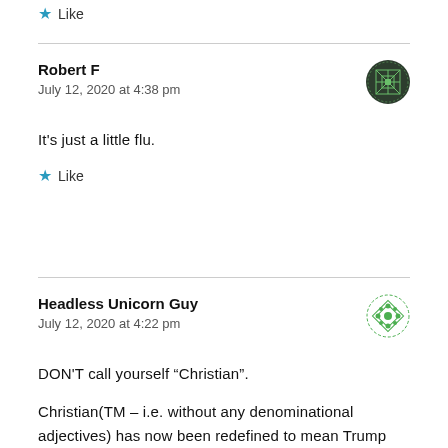Like
Robert F
July 12, 2020 at 4:38 pm
[Figure (illustration): Dark green circular avatar with geometric cross/lattice pattern for user Robert F]
It's just a little flu.
Like
Headless Unicorn Guy
July 12, 2020 at 4:22 pm
[Figure (illustration): Green circular avatar with geometric diamond/square pattern for user Headless Unicorn Guy]
DON'T call yourself “Christian”.
Christian(TM – i.e. without any denominational adjectives) has now been redefined to mean Trump